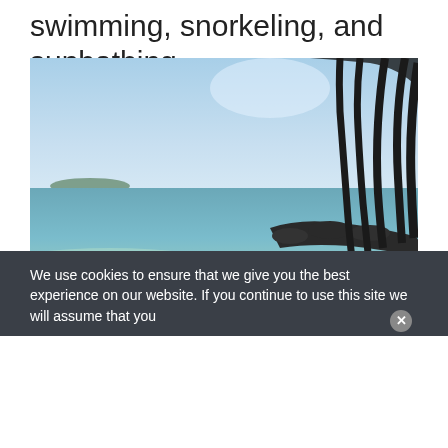swimming, snorkeling, and sunbathing.
[Figure (photo): A tropical beach scene showing calm turquoise water, a sandy shoreline with rocks and dark lava formations, and tall palm tree silhouettes on the right side against a clear blue sky.]
We use cookies to ensure that we give you the best experience on our website. If you continue to use this site we will assume that you